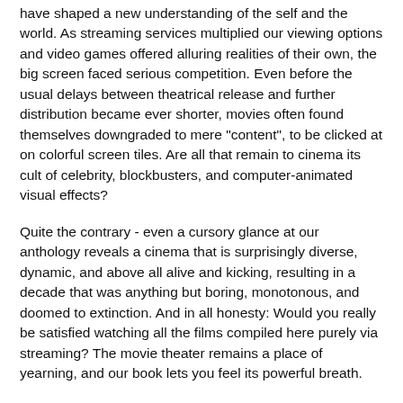have shaped a new understanding of the self and the world. As streaming services multiplied our viewing options and video games offered alluring realities of their own, the big screen faced serious competition. Even before the usual delays between theatrical release and further distribution became ever shorter, movies often found themselves downgraded to mere "content", to be clicked at on colorful screen tiles. Are all that remain to cinema its cult of celebrity, blockbusters, and computer-animated visual effects?
Quite the contrary - even a cursory glance at our anthology reveals a cinema that is surprisingly diverse, dynamic, and above all alive and kicking, resulting in a decade that was anything but boring, monotonous, and doomed to extinction. And in all honesty: Would you really be satisfied watching all the films compiled here purely via streaming? The movie theater remains a place of yearning, and our book lets you feel its powerful breath.
Each of the 100 most compelling movies of the decade is discussed in detail by editor Jrgen Mller and his team of authors, and illustrated with a wealth of visual material. The volume also includes biographies of actors and directors, box-office takings, background information, and a comprehensive list of Oscar(R) winners from 2012 to 2021. For Jrgen Mller and Philipp Bhler in their wide-